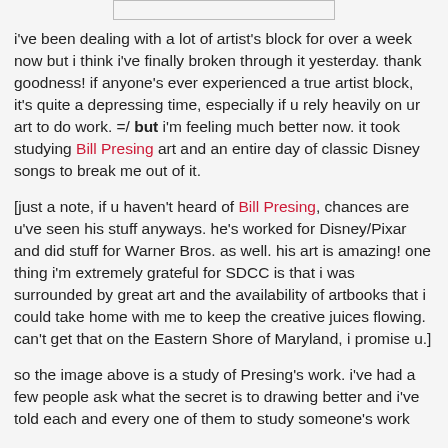[Figure (other): Top portion of an image/artwork, partially visible at top of page]
i've been dealing with a lot of artist's block for over a week now but i think i've finally broken through it yesterday. thank goodness! if anyone's ever experienced a true artist block, it's quite a depressing time, especially if u rely heavily on ur art to do work. =/ but i'm feeling much better now. it took studying Bill Presing art and an entire day of classic Disney songs to break me out of it.
[just a note, if u haven't heard of Bill Presing, chances are u've seen his stuff anyways. he's worked for Disney/Pixar and did stuff for Warner Bros. as well. his art is amazing! one thing i'm extremely grateful for SDCC is that i was surrounded by great art and the availability of artbooks that i could take home with me to keep the creative juices flowing. can't get that on the Eastern Shore of Maryland, i promise u.]
so the image above is a study of Presing's work. i've had a few people ask what the secret is to drawing better and i've told each and every one of them to study someone's work